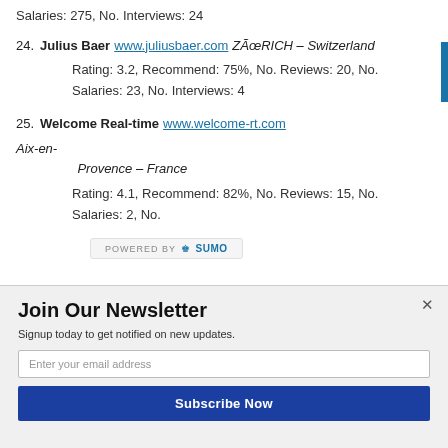Salaries: 275, No. Interviews: 24
24. Julius Baer www.juliusbaer.com ZÃœRICH – Switzerland
Rating: 3.2, Recommend: 75%, No. Reviews: 20, No. Salaries: 23, No. Interviews: 4
25. Welcome Real-time www.welcome-rt.com Aix-en-Provence – France
Rating: 4.1, Recommend: 82%, No. Reviews: 15, No. Salaries: 2, No. Interviews: [partially obscured]
[Figure (screenshot): POWERED BY SUMO widget overlay bar]
Join Our Newsletter
Signup today to get notified on new updates.
Enter your email address
Subscribe Now